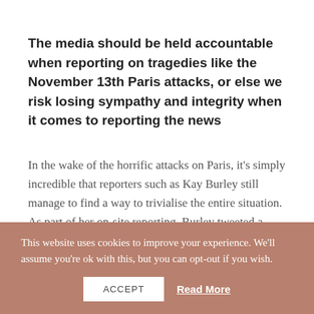The media should be held accountable when reporting on tragedies like the November 13th Paris attacks, or else we risk losing sympathy and integrity when it comes to reporting the news
In the wake of the horrific attacks on Paris, it's simply incredible that reporters such as Kay Burley still manage to find a way to trivialise the entire situation. As part of her on-site reporting, Burley tweeted a picture of a golden retriever that was near one of the scenes of the
This website uses cookies to improve your experience. We'll assume you're ok with this, but you can opt-out if you wish.